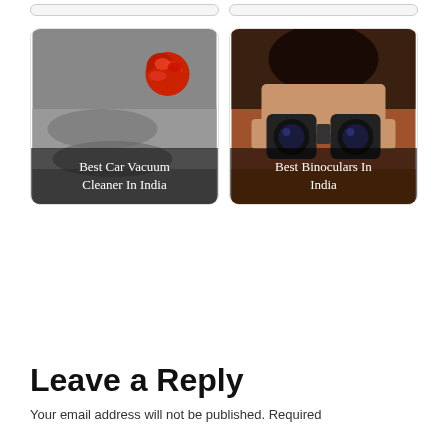[Figure (photo): Card stub row at top showing two bordered card outlines partially visible]
[Figure (photo): Card with black-and-white photo of a car vacuum cleaner hose with a red rose, overlaid text: Best Car Vacuum Cleaner In India]
[Figure (photo): Card with photo of a person holding binoculars up to their eyes, overlaid text: Best Binoculars In India]
Leave a Reply
Your email address will not be published. Required